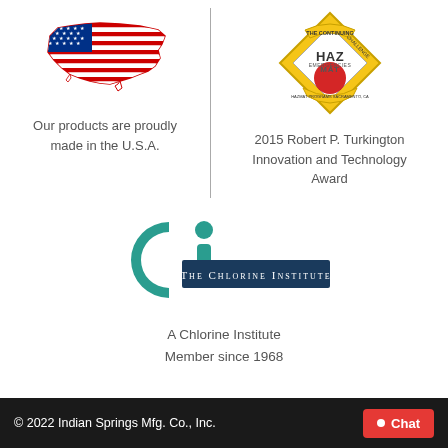[Figure (illustration): USA flag in the shape of the United States map]
Our products are proudly made in the U.S.A.
[Figure (logo): Hazmat Emergencies - The Continuing Challenge award badge/logo]
2015 Robert P. Turkington Innovation and Technology Award
[Figure (logo): The Chlorine Institute logo with stylized 'Ci' letters and teal/dark blue colors]
A Chlorine Institute Member since 1968
© 2022 Indian Springs Mfg. Co., Inc.  Chat